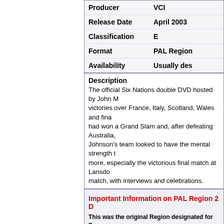| Field | Value |
| --- | --- |
| Producer | VCI |
| Release Date | April 2003 |
| Classification | E |
| Format | PAL Region |
| Availability | Usually des |
Description
The official Six Nations double DVD hosted by John ... victories over France, Italy, Scotland, Wales and fina... had won a Grand Slam and, after defeating Australia, ... Johnson's team looked to have the mental strength t... more, especially the victorious final match at Lansdo... match, with interviews and celebrations.
Important Information on PAL Region 2 D...
This was the original Region designated for Europe... Asia and your TV can accept the PAL signal, then yo...

To the best of our knowledge (although we accept ... would thoroughly recommend that if you are in any... making a purchase) this PAL Region 2 DVD is desig...
Albania, Andorra, Austria, Bahrain, Belarus, Belg... Croatia, Cyprus, Czech Republic, Denmark, Egypt, ... Gibraltar, Greece, Greenland, Hungary, Iceland, Ira... Lebanon, Liechtenstein, Lithuania, Luxembourg, M... Monaco, Netherlands, Norway, Oman, Poland, Por... Slovakia, Slovenia, South Africa, Spain, Sweden, S... Arab Emirates, UNITED KINGDOM, Vatican City Stat...
NB. This DVD will NOT work in NTSC TV regions (su... play Region 2 DVD's (ie it is multi-region) AND yo...